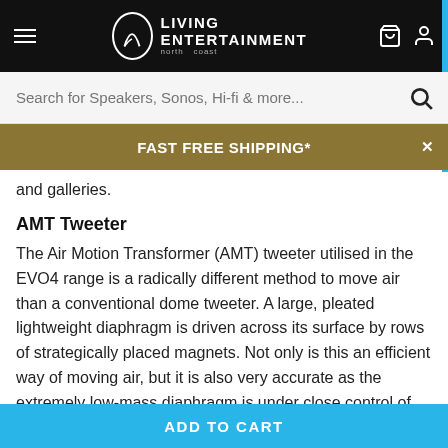Living Entertainment — north coast
Search for Speakers, Sonos, Hi-fi & more...
FAST FREE SHIPPING*
and galleries.
AMT Tweeter
The Air Motion Transformer (AMT) tweeter utilised in the EVO4 range is a radically different method to move air than a conventional dome tweeter. A large, pleated lightweight diaphragm is driven across its surface by rows of strategically placed magnets. Not only is this an efficient way of moving air, but it is also very accurate as the extremely low-mass diaphragm is under close control of the motor system at all
ADD TO CART